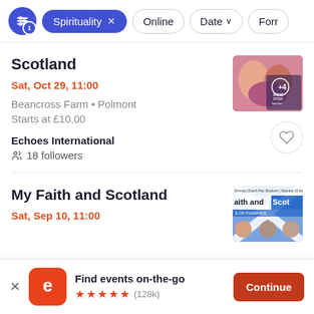[Figure (screenshot): Filter bar with active Spirituality chip, Online chip, Date chip, and partially visible Format chip]
Scotland
Sat, Oct 29, 11:00
Beancross Farm • Polmont
Starts at £10.00
Echoes International
18 followers
[Figure (photo): Event thumbnail for Scotland event showing people laughing with Echoes International logo overlay]
My Faith and Scotland
Sat, Sep 10, 11:00
[Figure (photo): Event thumbnail for My Faith and Scotland showing text 'aith and Scot' with Scottish flag diagonal design]
Find events on-the-go
★★★★★ (128k)
Continue